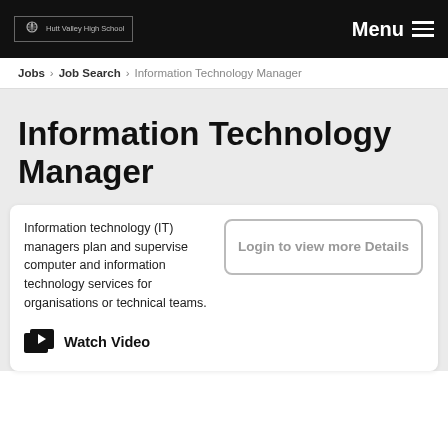Hutt Valley High School | Menu
Jobs > Job Search > Information Technology Manager
Information Technology Manager
Information technology (IT) managers plan and supervise computer and information technology services for organisations or technical teams.
Login to view more Details
Watch Video